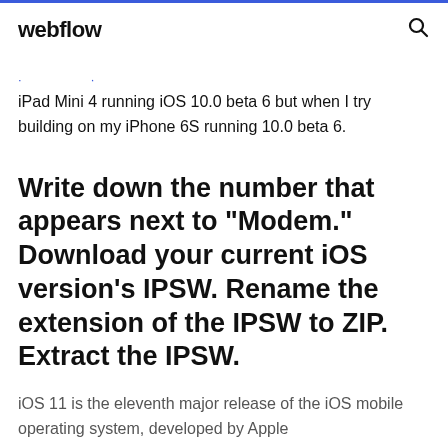webflow
iPad Mini 4 running iOS 10.0 beta 6 but when I try building on my iPhone 6S running 10.0 beta 6.
Write down the number that appears next to "Modem." Download your current iOS version's IPSW. Rename the extension of the IPSW to ZIP. Extract the IPSW.
iOS 11 is the eleventh major release of the iOS mobile operating system, developed by Apple